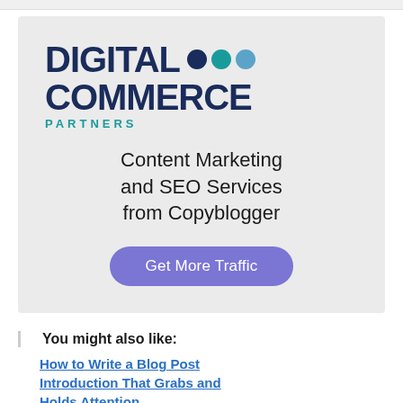[Figure (logo): Digital Commerce Partners logo with dark navy bold text DIGITAL COMMERCE and teal spaced letters PARTNERS, with three dots (navy, teal, light blue) next to DIGITAL]
Content Marketing and SEO Services from Copyblogger
Get More Traffic
You might also like:
How to Write a Blog Post Introduction That Grabs and Holds Attention